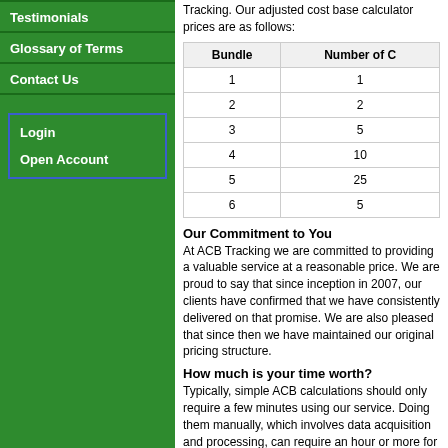Testimonials
Glossary of Terms
Contact Us
Login
Open Account
Tracking. Our adjusted cost base calculator prices are as follows:
| Bundle | Number of C |
| --- | --- |
| 1 | 1 |
| 2 | 2 |
| 3 | 5 |
| 4 | 10 |
| 5 | 25 |
| 6 | 5 |
Our Commitment to You
At ACB Tracking we are committed to providing a valuable service at a reasonable price. We are proud to say that since inception in 2007, our clients have confirmed that we have consistently delivered on that promise. We are also pleased that since then we have maintained our original pricing structure.
How much is your time worth?
Typically, simple ACB calculations should only require a few minutes using our service. Doing them manually, which involves data acquisition and processing, can require an hour or more for each one. In more complex cases involving mergers, name changes and splits/consolidations, a single calculation may take hours to complete when done manually. The ACB Tracking calculator automatically